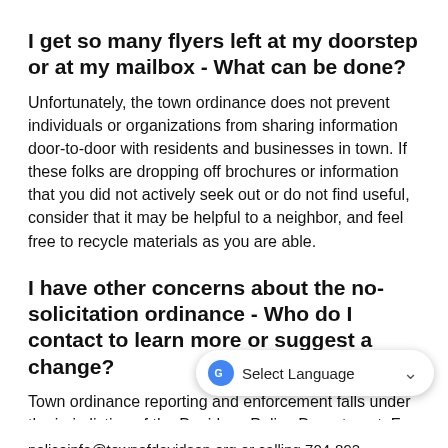I get so many flyers left at my doorstep or at my mailbox - What can be done?
Unfortunately, the town ordinance does not prevent individuals or organizations from sharing information door-to-door with residents and businesses in town. If these folks are dropping off brochures or information that you did not actively seek out or do not find useful, consider that it may be helpful to a neighbor, and feel free to recycle materials as you are able.
I have other concerns about the no-solicitation ordinance - Who do I contact to learn more or suggest a change?
Town ordinance reporting and enforcement falls under the jurisdiction of the Davidson Police Department. For more information, you can either rea... Department by emailing policeinfo@townofdavidson.org or calling 704-892...